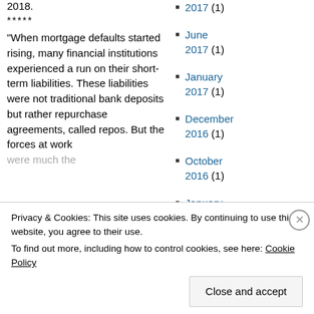2018.
*****
“When mortgage defaults started rising, many financial institutions experienced a run on their short-term liabilities. These liabilities were not traditional bank deposits but rather repurchase agreements, called repos. But the forces at work were much the
2017 (1)
June 2017 (1)
January 2017 (1)
December 2016 (1)
October 2016 (1)
January 2016 (1)
August 2015 (1)
June 2015 (2)
Privacy & Cookies: This site uses cookies. By continuing to use this website, you agree to their use. To find out more, including how to control cookies, see here: Cookie Policy
Close and accept